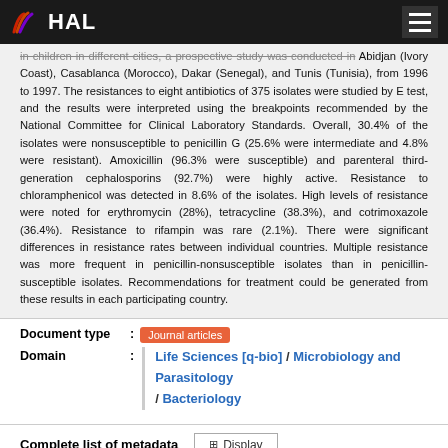HAL
in children in different cities, a prospective study was conducted in Abidjan (Ivory Coast), Casablanca (Morocco), Dakar (Senegal), and Tunis (Tunisia), from 1996 to 1997. The resistances to eight antibiotics of 375 isolates were studied by E test, and the results were interpreted using the breakpoints recommended by the National Committee for Clinical Laboratory Standards. Overall, 30.4% of the isolates were nonsusceptible to penicillin G (25.6% were intermediate and 4.8% were resistant). Amoxicillin (96.3% were susceptible) and parenteral third-generation cephalosporins (92.7%) were highly active. Resistance to chloramphenicol was detected in 8.6% of the isolates. High levels of resistance were noted for erythromycin (28%), tetracycline (38.3%), and cotrimoxazole (36.4%). Resistance to rifampin was rare (2.1%). There were significant differences in resistance rates between individual countries. Multiple resistance was more frequent in penicillin-nonsusceptible isolates than in penicillin-susceptible isolates. Recommendations for treatment could be generated from these results in each participating country.
Document type : Journal articles
Domain : Life Sciences [q-bio] / Microbiology and Parasitology / Bacteriology
Complete list of metadata